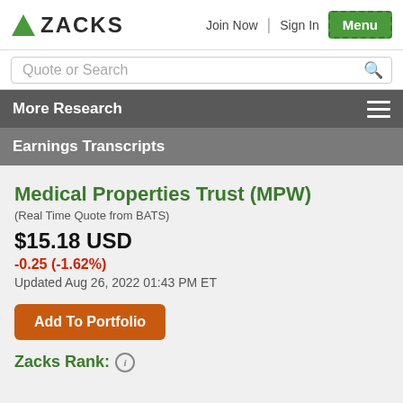ZACKS | Join Now | Sign In | Menu
Quote or Search
More Research
Earnings Transcripts
Medical Properties Trust (MPW)
(Real Time Quote from BATS)
$15.18 USD
-0.25 (-1.62%)
Updated Aug 26, 2022 01:43 PM ET
Add To Portfolio
Zacks Rank: